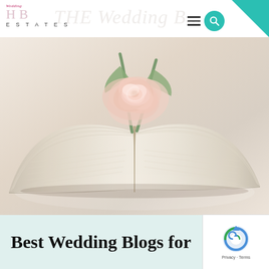Wedding ESTATES
[Figure (photo): Open book with a pale pink rose resting on its pages, soft pastel tones, romantic and elegant aesthetic]
Best Wedding Blogs for